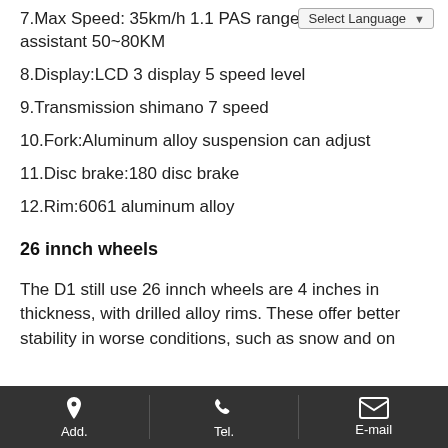7.Max Speed: 35km/h 1.1 PAS range with pedal assistant 50~80KM
8.Display:LCD 3 display 5 speed level
9.Transmission shimano 7 speed
10.Fork:Aluminum alloy suspension can adjust
11.Disc brake:180 disc brake
12.Rim:6061 aluminum alloy
26 innch wheels
The D1 still use 26 innch wheels are 4 inches in thickness, with drilled alloy rims. These offer better stability in worse conditions, such as snow and on
Add.   Tel.   E-mail